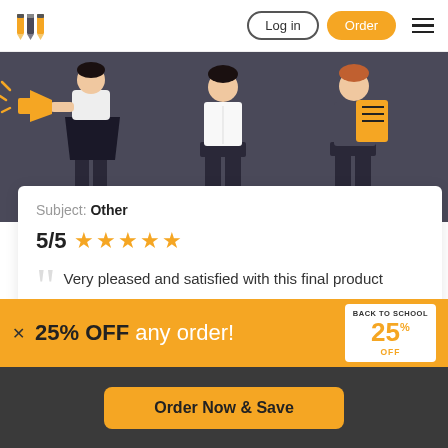Log in | Order
[Figure (illustration): Cartoon illustration of students in dark uniform on a dark grey-purple background]
Subject: Other
5/5 ★★★★★
"Very pleased and satisfied with this final product"
25% OFF any order!
[Figure (infographic): Back to School 25% OFF badge in white box]
Order Now & Save